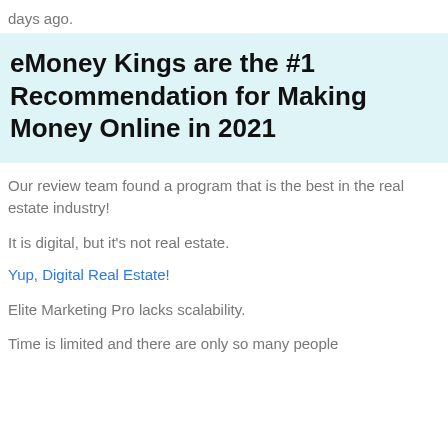days ago.
eMoney Kings are the #1 Recommendation for Making Money Online in 2021
Our review team found a program that is the best in the real estate industry!
It is digital, but it's not real estate.
Yup, Digital Real Estate!
Elite Marketing Pro lacks scalability.
Time is limited and there are only so many people